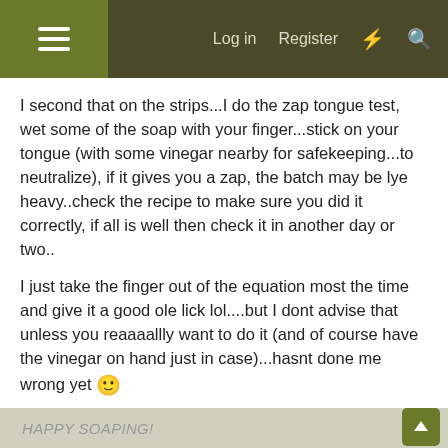Log in  Register
I second that on the strips...I do the zap tongue test, wet some of the soap with your finger...stick on your tongue (with some vinegar nearby for safekeeping...to neutralize), if it gives you a zap, the batch may be lye heavy..check the recipe to make sure you did it correctly, if all is well then check it in another day or two..
I just take the finger out of the equation most the time and give it a good ole lick lol....but I dont advise that unless you reaaaallly want to do it (and of course have the vinegar on hand just in case)...hasnt done me wrong yet 🙂
HAPPY SOAPING!